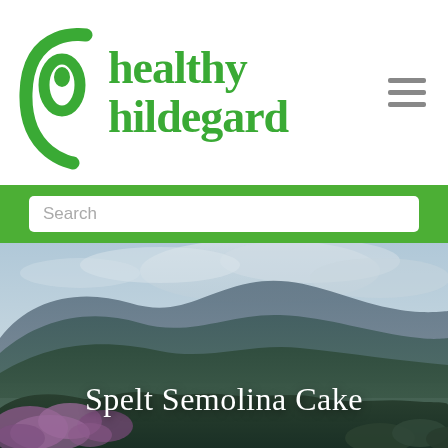[Figure (logo): Healthy Hildegard logo with green leaf/hand icon and green serif text 'healthy hildegard']
[Figure (screenshot): Hamburger menu icon (three gray horizontal lines) in the top right corner]
[Figure (screenshot): Search input field with placeholder text 'Search' on green background bar]
[Figure (photo): Scenic mountain landscape with blue-green layered ridges, dramatic cloudy sky, and pink/purple flowering bushes in foreground]
Spelt Semolina Cake